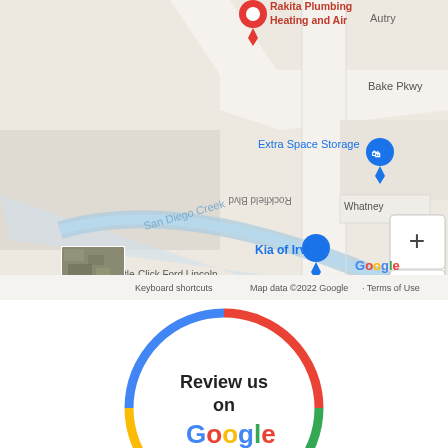[Figure (map): Google Maps screenshot showing Rakita Plumbing Heating and Air location near Bake Pkwy, Extra Space Storage, San Diego Creek, Kia of Irvine, Tuttle-Click Ford Lincoln, and Rockfield Blvd in Irvine CA. Map controls (+ and -) visible. Footer shows keyboard shortcuts and Map data ©2022 Google Terms of Use.]
[Figure (logo): Review us on Google badge — circular badge with Google brand colors (red, blue, yellow, green) ring, text 'Review us on Google' and five gold stars.]